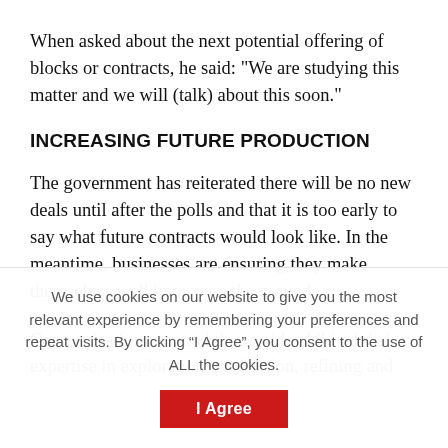When asked about the next potential offering of blocks or contracts, he said: "We are studying this matter and we will (talk) about this soon."
INCREASING FUTURE PRODUCTION
The government has reiterated there will be no new deals until after the polls and that it is too early to say what future contracts would look like. In the meantime, businesses are ensuring they make themselves well known on the ground.
Companies from around the world exhibited their expertise in exploration, production, refining and
We use cookies on our website to give you the most relevant experience by remembering your preferences and repeat visits. By clicking “I Agree”, you consent to the use of ALL the cookies.